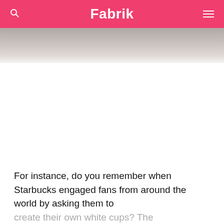Fabrik
[Figure (photo): Partial image strip showing blurred/cropped photo content at top of article]
For instance, do you remember when Starbucks engaged fans from around the world by asking them to create their own white cups? The #WhiteCupContest not only allowed the organisation to tap into user-